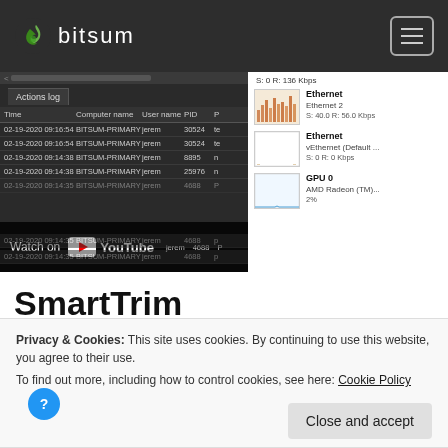bitsum (logo and navigation header)
[Figure (screenshot): Screenshot of Bitsum process manager showing Actions log table with columns Time, Computer name, User name, PID. Rows include entries for 02-19-2020 09:16:54 and 02-19-2020 09:14:38 for BITSUM-PRIMARY / jerem. Right side shows system resource panel with Ethernet Ethernet 2 S: 40.0 R: 56.0 Kbps, Ethernet vEthernet (Default... S: 0 R: 0 Kbps, GPU 0 AMD Radeon (TM)... 2%. A YouTube 'Watch on' overlay is visible on the left panel.]
SmartTrim
Privacy & Cookies: This site uses cookies. By continuing to use this website, you agree to their use.
To find out more, including how to control cookies, see here: Cookie Policy
Close and accept
reached, and can also clear the custom standby list (cache)